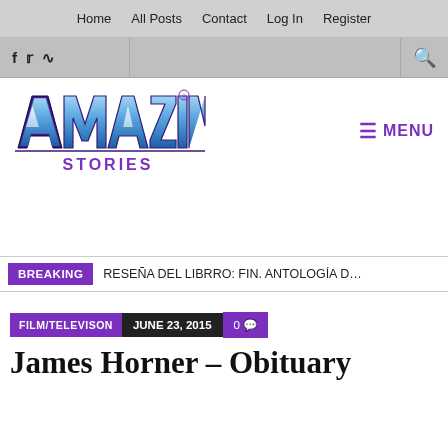Home  All Posts  Contact  Log In  Register
[Figure (logo): Amazing Stories logo with stylized blue/purple text and hamburger menu button labeled MENU in purple]
BREAKING  RESEÑA DEL LIBRRO: FIN. ANTOLOGÍA DE REL...
FILM/TELEVISON  JUNE 23, 2015  0 comments
James Horner – Obituary